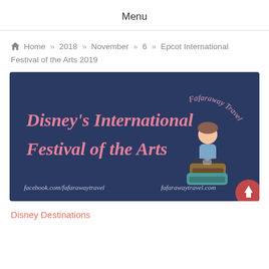Menu
Home » 2018 » November » 6 » Epcot International Festival of the Arts 2019
[Figure (illustration): Dark navy blue promotional banner for Disney's International Festival of the Arts, featuring pink hand-lettered text reading 'Disney's International Festival of the Arts', a cartoon illustration of a woman sitting cross-legged on luggage with 'Fafaraway Travel' text in an arc above, and social media links 'facebook.com/fafarawaytravel' and 'fafarawaytravel.com' at the bottom, plus a red circular scroll-to-top button at bottom right.]
Disney Destinations